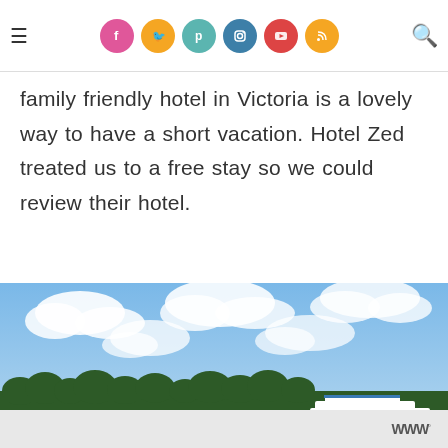Navigation bar with hamburger menu, social media icons (Facebook, Twitter, Pinterest, Instagram, YouTube, RSS), and search icon
family friendly hotel in Victoria is a lovely way to have a short vacation. Hotel Zed treated us to a free stay so we could review their hotel.
[Figure (photo): Outdoor photo showing a blue sky with white clouds, a treeline of dark green conifers, and a white multi-deck ferry or hotel building near the water in the lower portion. Overlay buttons for heart/save and share are visible, plus a 'What's Next' panel showing 'Snapper Rock – Children's…']
WWW logo with superscript circle-r